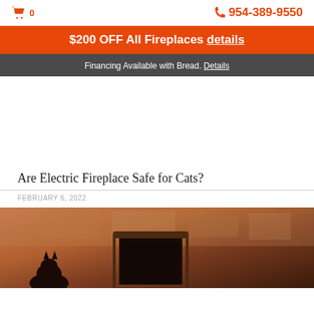🛒 0   📞 954-389-9550
$200 OFF All Fireplaces details
Financing Available with Bread. Details
Are Electric Fireplace Safe for Cats?
FEBRUARY 6, 2022
[Figure (photo): A cat near an electric fireplace with warm brownish stone or wood background]